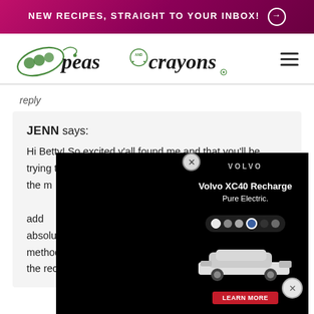NEW RECIPES, STRAIGHT TO YOUR INBOX! →
[Figure (logo): Peas and Crayons blog logo with illustrated peas and cursive/script text]
reply
JENN says:
Hi Betty! So excited y'all found me and that you'll be trying the recipe — we're crazy about this one! Sorry for the m[obscured] you pointed tha[obscured] onion in the ma[obscured] to be sautéed a[obscured] with it just add[obscured] difference betw[obscured] can absolutely do either! I updated the recipe with the easier method, but feel free to go either route. I hope you love the recipe! xoxo
[Figure (screenshot): Volvo XC40 Recharge Pure Electric advertisement overlay with black background and car image]